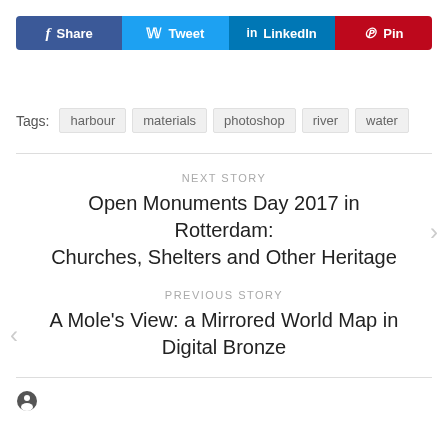[Figure (other): Social share buttons row: Facebook Share, Twitter Tweet, LinkedIn, Pinterest Pin]
Tags: harbour   materials   photoshop   river   water
NEXT STORY
Open Monuments Day 2017 in Rotterdam: Churches, Shelters and Other Heritage
PREVIOUS STORY
A Mole's View: a Mirrored World Map in Digital Bronze